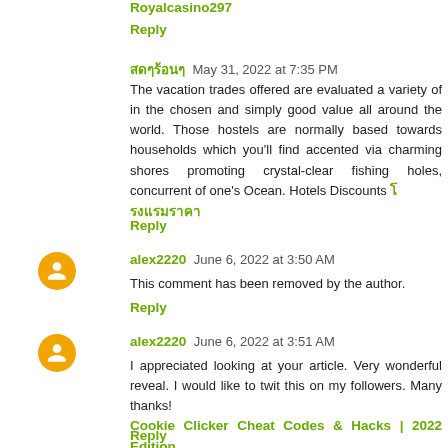Royalcasino297
Reply
สดๆร้อนๆ  May 31, 2022 at 7:35 PM
The vacation trades offered are evaluated a variety of in the chosen and simply good value all around the world. Those hostels are normally based towards households which you'll find accented via charming shores promoting crystal-clear fishing holes, concurrent of one's Ocean. Hotels Discounts โรงแรมราคา
Reply
alex2220  June 6, 2022 at 3:50 AM
This comment has been removed by the author.
Reply
alex2220  June 6, 2022 at 3:51 AM
I appreciated looking at your article. Very wonderful reveal. I would like to twit this on my followers. Many thanks!
Cookie Clicker Cheat Codes & Hacks | 2022 Edition
Reply